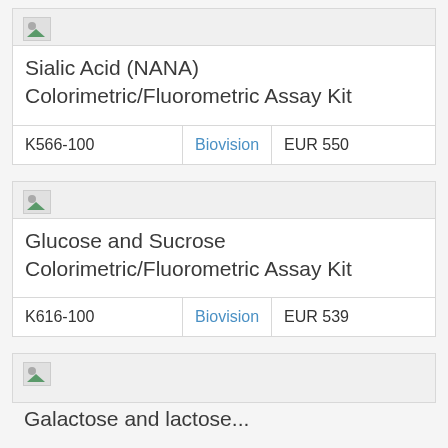| SKU | Brand | Price |
| --- | --- | --- |
| K566-100 | Biovision | EUR 550 |
| SKU | Brand | Price |
| --- | --- | --- |
| K616-100 | Biovision | EUR 539 |
Galactose and lactose...